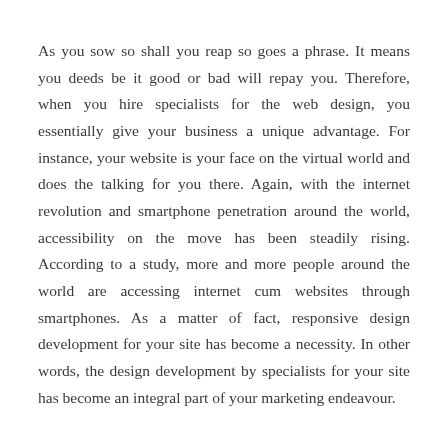As you sow so shall you reap so goes a phrase. It means you deeds be it good or bad will repay you. Therefore, when you hire specialists for the web design, you essentially give your business a unique advantage. For instance, your website is your face on the virtual world and does the talking for you there. Again, with the internet revolution and smartphone penetration around the world, accessibility on the move has been steadily rising. According to a study, more and more people around the world are accessing internet cum websites through smartphones. As a matter of fact, responsive design development for your site has become a necessity. In other words, the design development by specialists for your site has become an integral part of your marketing endeavour.